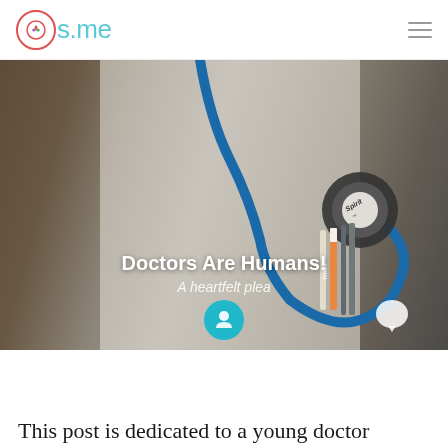os.me
[Figure (photo): Close-up photo of a doctor in a white coat with a stethoscope (Spirit brand) around their neck, with medical tools including pens and a device in their breast pocket. Text overlay reads 'Doctors Are Humans!' and subtitle 'A heartfelt plea'. A teal avatar icon and chat bubble icon are visible at the bottom.]
Doctors Are Humans!
A heartfelt plea
This post is dedicated to a young doctor